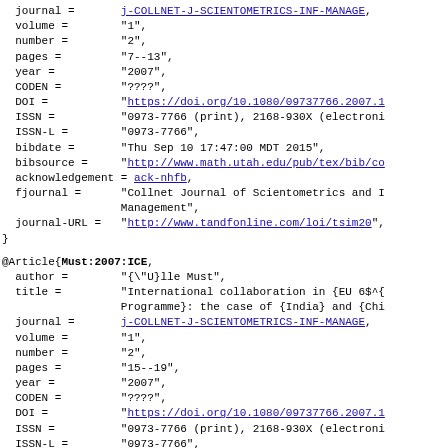BibTeX bibliography entries showing fields: journal, volume, number, pages, year, CODEN, DOI, ISSN, ISSN-L, bibdate, bibsource, acknowledgement, fjournal, journal-URL for one entry, followed by @Article{Must:2007:ICE, with fields author, title, journal, volume, number, pages, year, CODEN, DOI, ISSN, ISSN-L